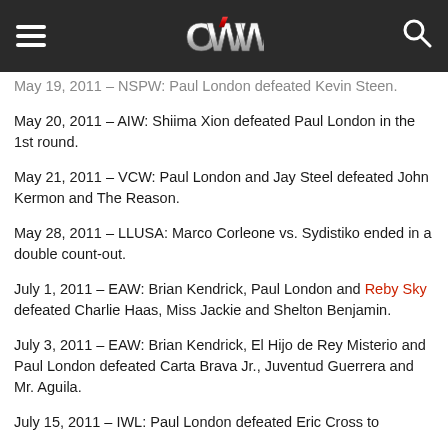OWW navigation header
May 19, 2011 – NSPW: Paul London defeated Kevin Steen.
May 20, 2011 – AIW: Shiima Xion defeated Paul London in the 1st round.
May 21, 2011 – VCW: Paul London and Jay Steel defeated John Kermon and The Reason.
May 28, 2011 – LLUSA: Marco Corleone vs. Sydistiko ended in a double count-out.
July 1, 2011 – EAW: Brian Kendrick, Paul London and Reby Sky defeated Charlie Haas, Miss Jackie and Shelton Benjamin.
July 3, 2011 – EAW: Brian Kendrick, El Hijo de Rey Misterio and Paul London defeated Carta Brava Jr., Juventud Guerrera and Mr. Aguila.
July 15, 2011 – IWL: Paul London defeated Eric Cross to